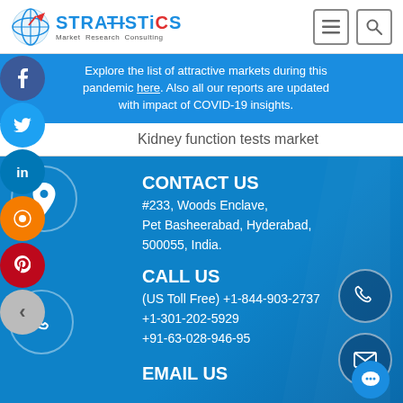[Figure (logo): Stratistics Market Research Consulting logo with globe icon]
Explore the list of attractive markets during this pandemic here. Also all our reports are updated with impact of COVID-19 insights.
Kidney function tests market
CONTACT US
#233, Woods Enclave, Pet Basheerabad, Hyderabad, 500055, India.
CALL US
(US Toll Free) +1-844-903-2737
+1-301-202-5929
+91-63-028-946-95
EMAIL US